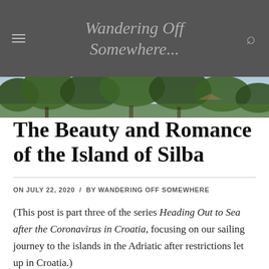Wandering Off Somewhere...
[Figure (photo): Photograph strip of trees and foliage, possibly pine trees, with natural outdoor scenery]
The Beauty and Romance of the Island of Silba
ON JULY 22, 2020 / BY WANDERING OFF SOMEWHERE
(This post is part three of the series Heading Out to Sea after the Coronavirus in Croatia, focusing on our sailing journey to the islands in the Adriatic after restrictions let up in Croatia.)